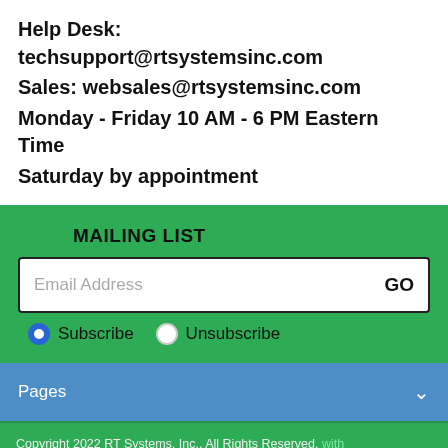Help Desk: techsupport@rtsystemsinc.com
Sales: websales@rtsystemsinc.com
Monday - Friday 10 AM - 6 PM Eastern Time
Saturday by appointment
MAILING LIST
Email Address  GO
Subscribe  Unsubscribe
Pages
Copyright 2022 RT Systems, Inc.. All Rights Reserved.
[Figure (other): Payment method icons: VISA, PayPal, Mastercard, Discover, American Express]